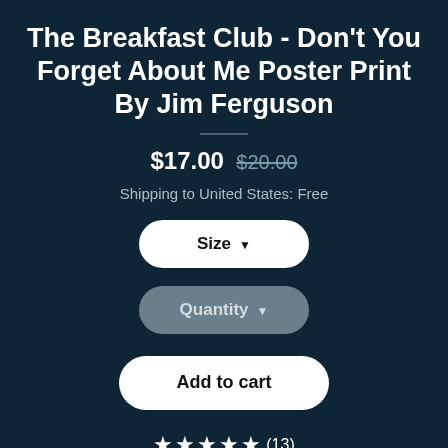The Breakfast Club - Don't You Forget About Me Poster Print By Jim Ferguson
$17.00 $20.00
Shipping to United States: Free
Size ▼
Quantity ▼
Add to cart
★★★★★(13)